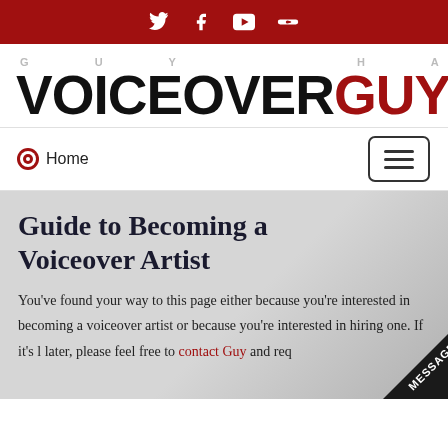Social icons bar: Twitter, Facebook, YouTube, SoundCloud
[Figure (logo): Guy Harris VoiceoverGuy logo with 'GUY HARRIS' in light gray spaced letters above and 'VOICEOVERGUY' in large bold black and red text]
Home
Guide to Becoming a Voiceover Artist
You've found your way to this page either because you're interested in becoming a voiceover artist or because you're interested in hiring one. If it's later, please feel free to contact Guy and req…